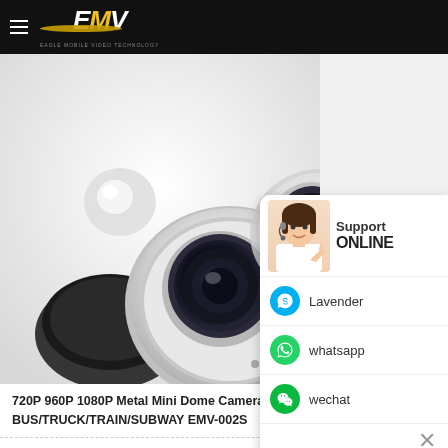[Figure (logo): EMV Eagle Mobile Video Technology logo on black header bar with hamburger menu icon]
[Figure (photo): Close-up photo of metal mini dome cameras on white background, showing circular lens housings with FC NTSC markings]
720P 960P 1080P Metal Mini Dome Cameras BUS/TRUCK/TRAIN/SUBWAY EMV-002S
[Figure (infographic): Support ONLINE widget showing female agent with headset, Skype contact Lavender, whatsapp, and wechat options with a close button]